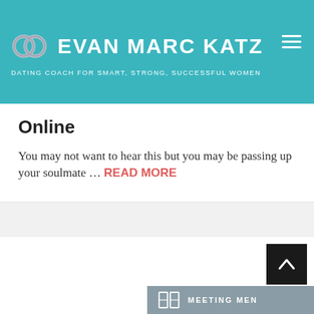EVAN MARC KATZ — DATING COACH FOR SMART, STRONG, SUCCESSFUL WOMEN
Online
You may not want to hear this but you may be passing up your soulmate … READ MORE
[Figure (other): Back to top arrow button, dark background with upward chevron]
[Figure (other): Meeting Men widget with book icon and teal background]